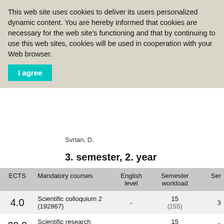This web site uses cookies to deliver its users personalized dynamic content. You are hereby informed that cookies are necessary for the web site's functioning and that by continuing to use this web sites, cookies will be used in cooperation with your Web browser.
I agree
Svrtan, D.
3. semester, 2. year
| ECTS | Mandatory courses | English level | Semester workload | Ser |
| --- | --- | --- | --- | --- |
| 4.0 | Scientific colloquium 2 (192867) | - | 15
(15S) | 3 |
| 20.0 | Scientific research (192876) | - | 15
(15S) | 3 |
| ECTS | Advanced courses => Napredni
... | English level | Semester workload | Ser |